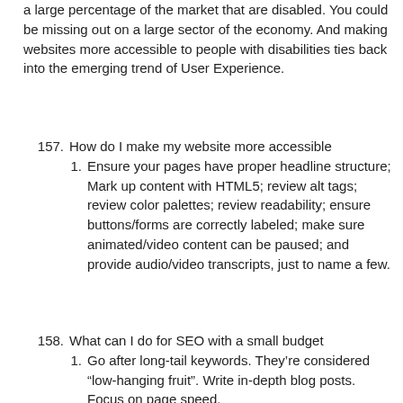a large percentage of the market that are disabled. You could be missing out on a large sector of the economy. And making websites more accessible to people with disabilities ties back into the emerging trend of User Experience.
157. How do I make my website more accessible
1. Ensure your pages have proper headline structure; Mark up content with HTML5; review alt tags; review color palettes; review readability; ensure buttons/forms are correctly labeled; make sure animated/video content can be paused; and provide audio/video transcripts, just to name a few.
158. What can I do for SEO with a small budget
1. Go after long-tail keywords. They're considered "low-hanging fruit". Write in-depth blog posts. Focus on page speed.